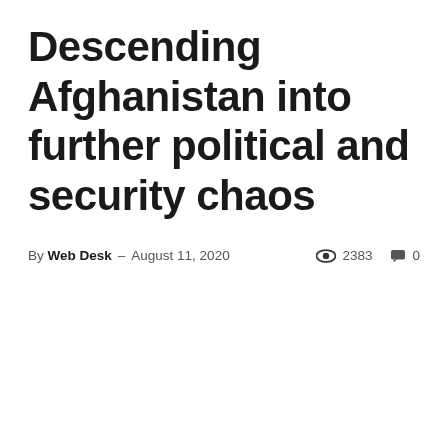Descending Afghanistan into further political and security chaos
By Web Desk – August 11, 2020   👁 2383   💬 0